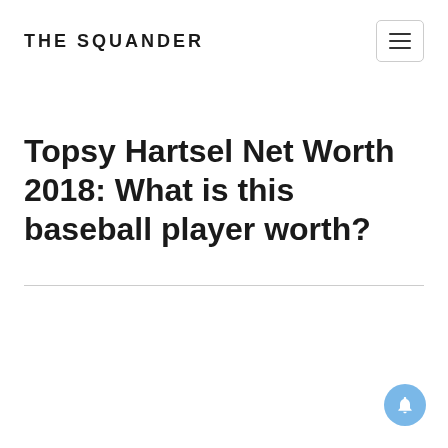THE SQUANDER
Topsy Hartsel Net Worth 2018: What is this baseball player worth?